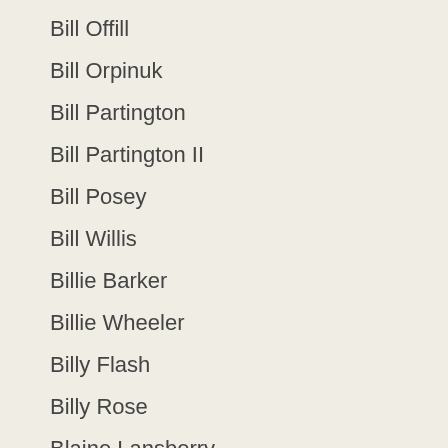Bill Offill
Bill Orpinuk
Bill Partington
Bill Partington II
Bill Posey
Bill Willis
Billie Barker
Billie Wheeler
Billy Flash
Billy Rose
Blaine Lansberry